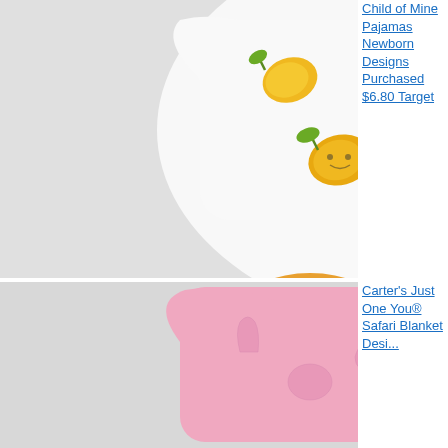[Figure (photo): Baby footed onesie pajama with lemon print pattern on white background, yellow lemons with green leaves and cute face feet]
Child of Mine Pajamas Newborn Designs Purchased $6.80 Target
[Figure (photo): Pink baby zip-up fleece blanket sleeper with safari animal print pattern, Carter's brand]
Carter's Just One You® Safari Blanket Designs